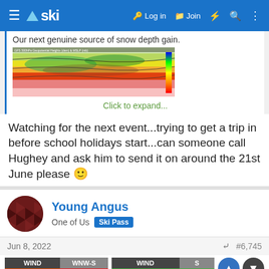ski — Log in  Join
Our next genuine source of snow depth gain.
[Figure (screenshot): GFS 500hPa geopotential heights and MSLP meteorological chart showing colourful contour bands.]
Click to expand...
Watching for the next event...trying to get a trip in before school holidays start...can someone call Hughey and ask him to send it on around the 21st June please 🙂
Young Angus
One of Us  Ski Pass
Jun 8, 2022  #6,745
[Figure (table-as-image): Wind direction and strength indicators: WIND WNW-S MODERATE → STRONG | WIND S LIGHT]